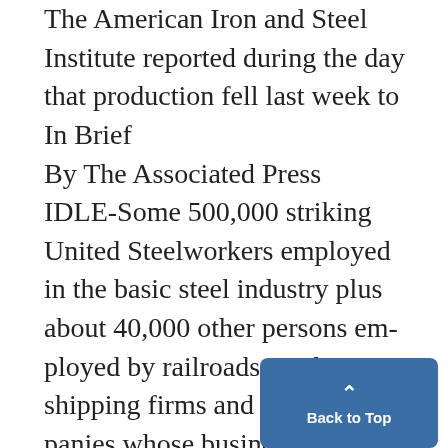The American Iron and Steel Institute reported during the day that production fell last week to
In Brief
By The Associated Press
IDLE-Some 500,000 striking United Steelworkers employed in the basic steel industry plus about 40,000 other persons employed by railroads, coal mines, shipping firms and other companies whose business depends on the steel industry. Strike will be a week old at midnight